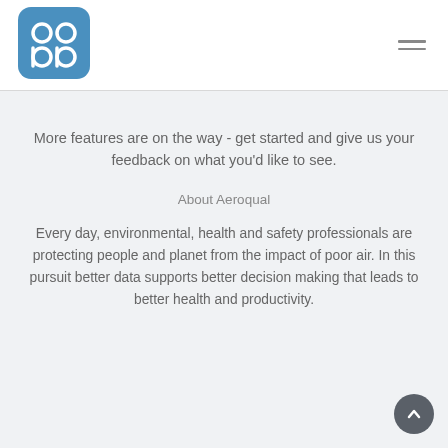[Figure (logo): Aeroqual logo: blue rounded square with stylized 'ab' letter shapes in white]
More features are on the way - get started and give us your feedback on what you'd like to see.
About Aeroqual
Every day, environmental, health and safety professionals are protecting people and planet from the impact of poor air. In this pursuit better data supports better decision making that leads to better health and productivity.